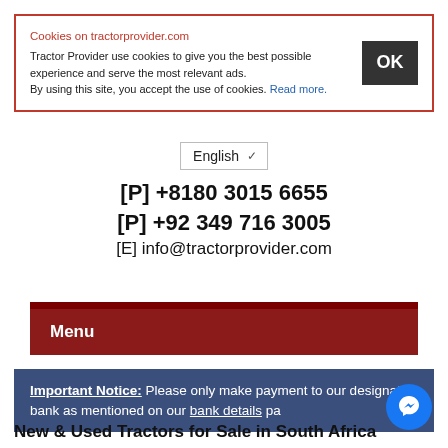Cookies on tractorprovider.com
Tractor Provider use cookies to give you the best possible experience and serve the most relevant ads.
By using this site, you accept the use of cookies. Read more.
English
[P] +8180 3015 6655
[P] +92 349 716 3005
[E] info@tractorprovider.com
Menu
Important Notice: Please only make payment to our designated bank as mentioned on our bank details pa
New & Used Tractors for Sale in South Africa